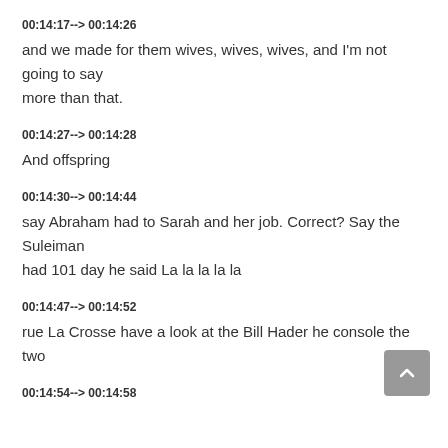00:14:17--> 00:14:26
and we made for them wives, wives, wives, and I'm not going to say more than that.
00:14:27--> 00:14:28
And offspring
00:14:30--> 00:14:44
say Abraham had to Sarah and her job. Correct? Say the Suleiman had 101 day he said La la la la la
00:14:47--> 00:14:52
rue La Crosse have a look at the Bill Hader he console the two
00:14:54--> 00:14:58